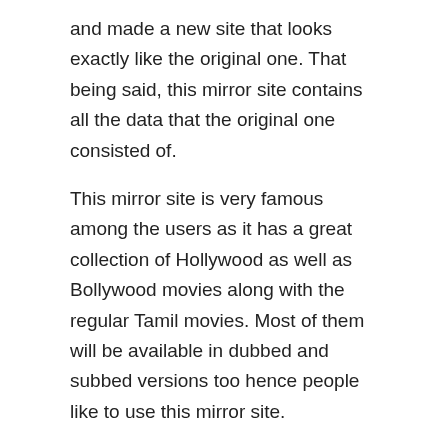and made a new site that looks exactly like the original one. That being said, this mirror site contains all the data that the original one consisted of.
This mirror site is very famous among the users as it has a great collection of Hollywood as well as Bollywood movies along with the regular Tamil movies. Most of them will be available in dubbed and subbed versions too hence people like to use this mirror site.
See Also: Fix your plagiarism Try Plagiarism Remover Just enter your text click the Replace
Tamilrockers is a very popular site, hence various users might have copied the entire data of the site and made a new site that looks exactly like the